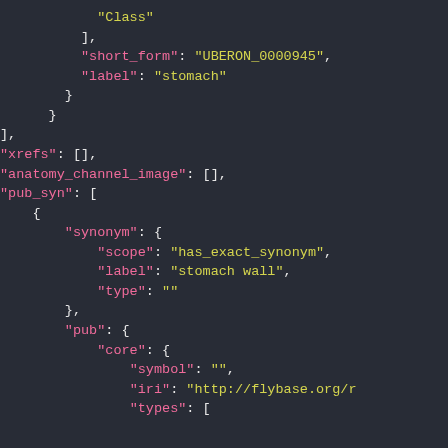JSON code snippet showing anatomy ontology data with fields including Class, short_form (UBERON_0000945), label (stomach), xrefs, anatomy_channel_image, pub_syn with synonym scope (has_exact_synonym), label (stomach wall), type, pub with core containing symbol, iri (http://flybase.org/r...), and types.